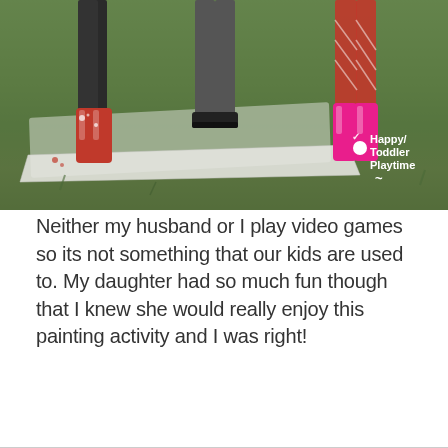[Figure (photo): Outdoor photo showing children's legs and feet standing on grass near a white tarp/sheet on the ground. Children are wearing colorful boots and leggings. A 'Happy Toddler Playtime' logo watermark is visible in the lower right of the image.]
Neither my husband or I play video games so its not something that our kids are used to. My daughter had so much fun though that I knew she would really enjoy this painting activity and I was right!